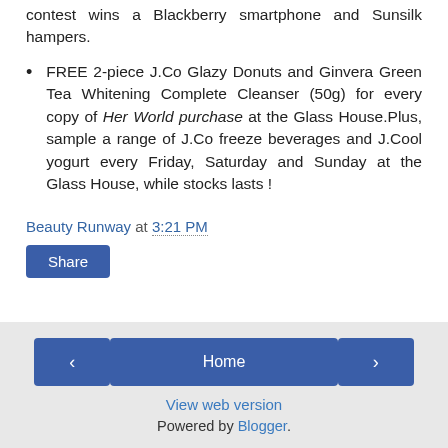contest wins a Blackberry smartphone and Sunsilk hampers.
FREE 2-piece J.Co Glazy Donuts and Ginvera Green Tea Whitening Complete Cleanser (50g) for every copy of Her World purchase at the Glass House.Plus, sample a range of J.Co freeze beverages and J.Cool yogurt every Friday, Saturday and Sunday at the Glass House, while stocks lasts !
Beauty Runway at 3:21 PM
Share
< Home > View web version Powered by Blogger.